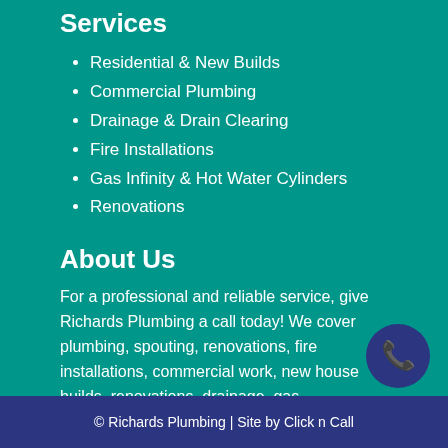Services
Residential & New Builds
Commercial Plumbing
Drainage & Drain Clearing
Fire Installations
Gas Infinity & Hot Water Cylinders
Renovations
About Us
For a professional and reliable service, give Richards Plumbing a call today! We cover plumbing, spouting, renovations, fire installations, commercial work, new house builds, renovations, drainage, gas installations, drain clearing and more.
© Richards Plumbing | Site by Click n Call